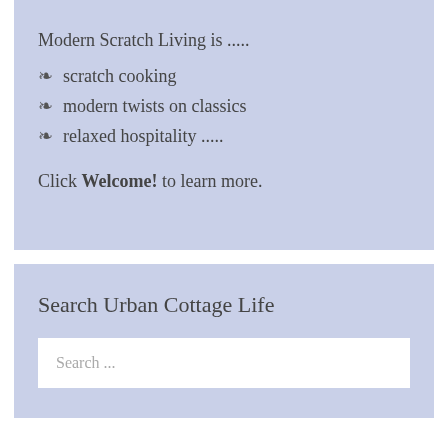Modern Scratch Living is .....
scratch cooking
modern twists on classics
relaxed hospitality .....
Click Welcome! to learn more.
Search Urban Cottage Life
Search ...